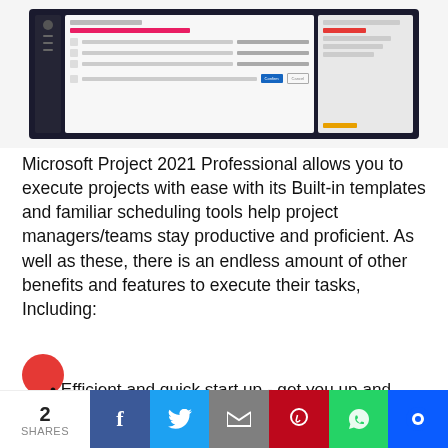[Figure (screenshot): Screenshot of Microsoft Project 2021 Professional interface showing task list, campaign form, and survey options on a dark UI background]
Microsoft Project 2021 Professional allows you to execute projects with ease with its Built-in templates and familiar scheduling tools help project managers/teams stay productive and proficient. As well as these, there is an endless amount of other benefits and features to execute their tasks, Including:
Efficient and quick start up - get you up and running faster with increasing number of ready made templates!
Reduce inefficiencies and training
2 SHARES | Facebook | Twitter | Email | Pinterest | WhatsApp | Chat